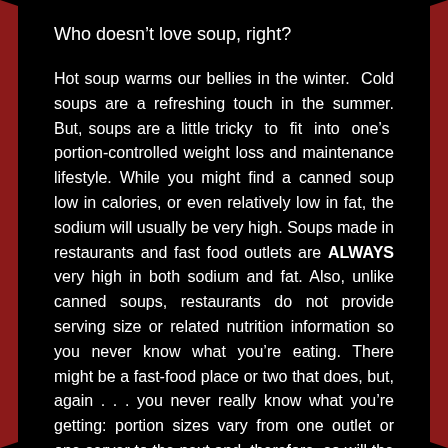Who doesn’t love soup, right?
Hot soup warms our bellies in the winter.  Cold soups are a refreshing touch in the summer. But, soups are a little tricky to fit into one’s portion-controlled weight loss and maintenance lifestyle. While you might find a canned soup low in calories, or even relatively low in fat, the sodium will usually be very high. Soups made in restaurants and fast food outlets are ALWAYS very high in both sodium and fat. Also, unlike canned soups, restaurants do not provide serving size or related nutrition information so you never know what you’re eating. There might be a fast-food place or two that does, but, again . . . you never really know what you’re getting: portion sizes vary from one outlet or one server to the next and, therefore, so will the nutritionals.